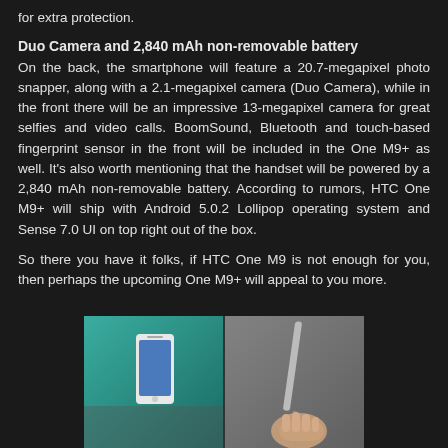for extra protection.
Duo Camera and 2,840 mAh non-removable battery
On the back, the smartphone will feature a 20.7-megapixel photo snapper, along with a 2.1-megapixel camera (Duo Camera), while in the front there will be an impressive 13-megapixel camera for great selfies and video calls. BoomSound, Bluetooth and touch-based fingerprint sensor in the front will be included in the One M9+ as well. It's also worth mentioning that the handset will be powered by a 2,840 mAh non-removable battery. According to rumors, HTC One M9+ will ship with Android 5.0.2 Lollipop operating system and Sense 7.0 UI on top right out of the box.
So there you have it folks, if HTC One M9 is not enough for you, then perhaps the upcoming One M9+ will appeal to you more.
[Figure (photo): Two photos of HTC One M9+ smartphone, left showing front view of phone on teal background, right showing person holding a stylus near the phone]